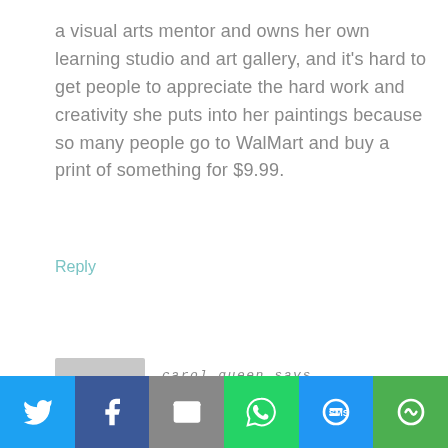a visual arts mentor and owns her own learning studio and art gallery, and it's hard to get people to appreciate the hard work and creativity she puts into her paintings because so many people go to WalMart and buy a print of something for $9.99.
Reply
[Figure (photo): User avatar placeholder: grey square with white circle representing a generic user profile image]
carol queen says
JUNE 28, 2012 AT 11:11 PM
[Figure (infographic): Social sharing bar with icons for Twitter, Facebook, Email, WhatsApp, SMS, and More options]